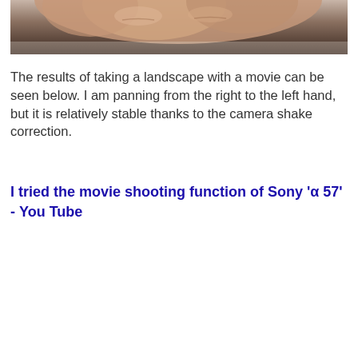[Figure (photo): Close-up photo of a hand/fingers against a light background, partially cropped at the top of the page]
The results of taking a landscape with a movie can be seen below. I am panning from the right to the left hand, but it is relatively stable thanks to the camera shake correction.
I tried the movie shooting function of Sony 'α 57' - YouTube